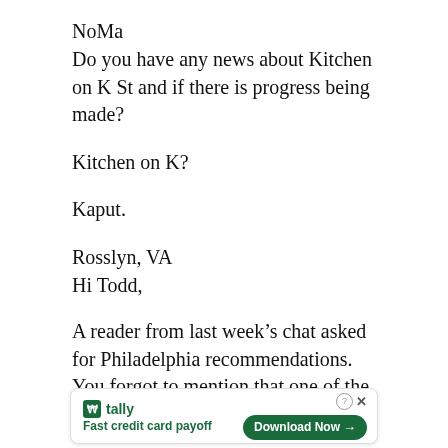NoMa
Do you have any news about Kitchen on K St and if there is progress being made?
Kitchen on K?
Kaput.
Rosslyn, VA
Hi Todd,
A reader from last week’s chat asked for Philadelphia recommendations. You forgot to mention that one of the greatest perks of
[Figure (other): Advertisement banner for Tally app: Fast credit card payoff, with Download Now button]